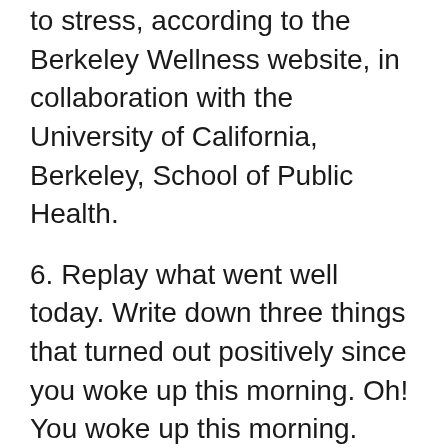to stress, according to the Berkeley Wellness website, in collaboration with the University of California, Berkeley, School of Public Health.
6. Replay what went well today. Write down three things that turned out positively since you woke up this morning. Oh! You woke up this morning. There’s one right there. This simple daily exercise, from leading positive psychology expert Martin Seligman, is a one-minute mood lifter that has been proven to improve life satisfaction levels.
7. Watch a cat or dog video. Assistant professor Jessica Gall Myrick, of the University of Indiana Bloomington, surveyed